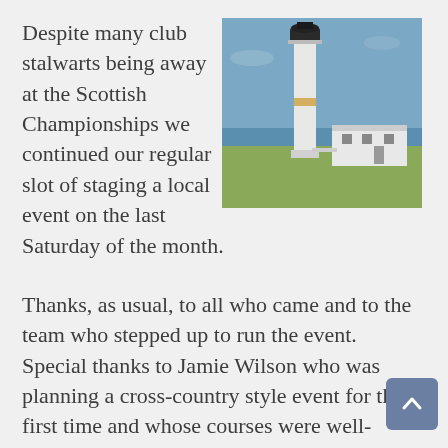Despite many club stalwarts being away at the Scottish Championships we continued our regular slot of staging a local event on the last Saturday of the month.
[Figure (photo): A tall white lighthouse with a black top lantern room, standing next to a white low-rise building, on flat green grass with blue sky and sea in the background. This is Barns Ness Lighthouse in Scotland.]
Thanks, as usual, to all who came and to the team who stepped up to run the event. Special thanks to Jamie Wilson who was planning a cross-country style event for the first time and whose courses were well-received for making the most of the Barns Ness map.